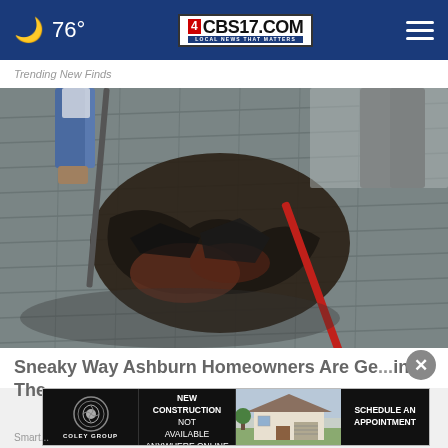76° CBS17.COM LOCAL NEWS THAT MATTERS
Trending New Finds
[Figure (photo): Workers on a roof removing damaged shingles and debris, with tools including a rake/hoe, on a gray asphalt shingle roof]
Sneaky Way Ashburn Homeowners Are Getting The...
[Figure (infographic): Advertisement banner: Coley Group - Get access to new construction not available anywhere online. Schedule an appointment. Compass.]